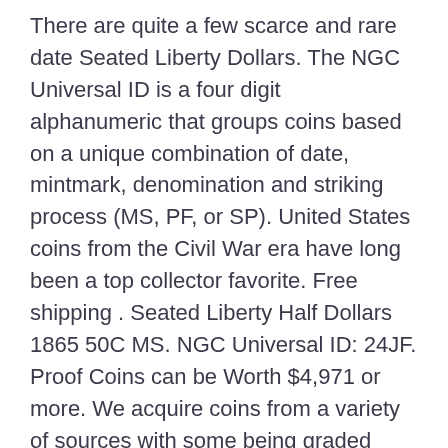There are quite a few scarce and rare date Seated Liberty Dollars. The NGC Universal ID is a four digit alphanumeric that groups coins based on a unique combination of date, mintmark, denomination and striking process (MS, PF, or SP). United States coins from the Civil War era have long been a top collector favorite. Free shipping . Seated Liberty Half Dollars 1865 50C MS. NGC Universal ID: 24JF. Proof Coins can be Worth $4,971 or more. We acquire coins from a variety of sources with some being graded before we get them and some we send out to grading service companies after we receive them.
http://www.propertyroom.com:80/l/1865-seated-